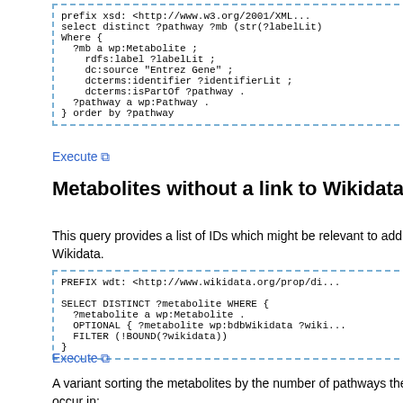Execute
Metabolites without a link to Wikidata
This query provides a list of IDs which might be relevant to add to Wikidata.
Execute
A variant sorting the metabolites by the number of pathways they occur in: